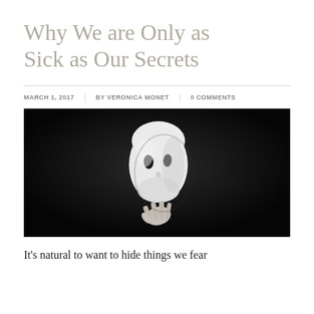Why We are Only as Sick as Our Secrets
MARCH 1, 2017 | BY VERONICA MONET | 0 COMMENTS
[Figure (photo): Black and white photo of a person holding up a white theatrical mask in front of their face against a black background]
It's natural to want to hide things we fear